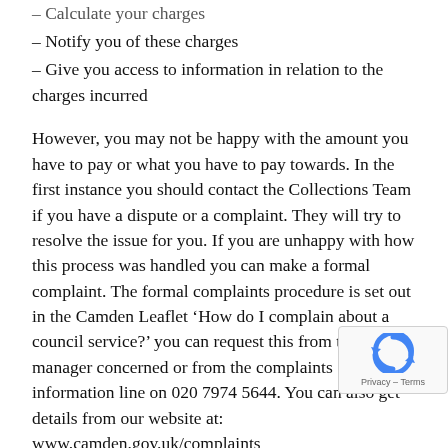– Calculate your charges
– Notify you of these charges
– Give you access to information in relation to the charges incurred
However, you may not be happy with the amount you have to pay or what you have to pay towards. In the first instance you should contact the Collections Team if you have a dispute or a complaint. They will try to resolve the issue for you. If you are unhappy with how this process was handled you can make a formal complaint. The formal complaints procedure is set out in the Camden Leaflet ‘How do I complain about a council service?’ you can request this from the manager concerned or from the complaints information line on 020 7974 5644. You can also get details from our website at: www.camden.gov.uk/complaints
There may still be occasions where you are not happy with the amount you have to pay and Camden does not accept